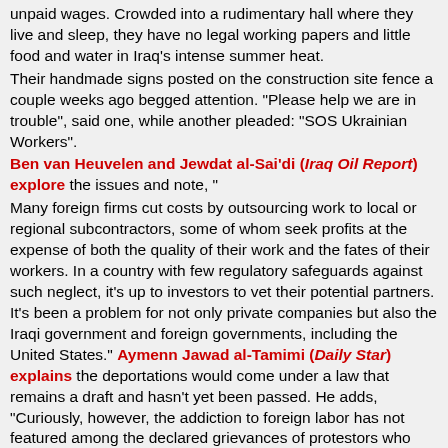unpaid wages. Crowded into a rudimentary hall where they live and sleep, they have no legal working papers and little food and water in Iraq's intense summer heat. Their handmade signs posted on the construction site fence a couple weeks ago begged attention. "Please help we are in trouble", said one, while another pleaded: "SOS Ukrainian Workers". Ben van Heuvelen and Jewdat al-Sai'di (Iraq Oil Report) explore the issues and note, " Many foreign firms cut costs by outsourcing work to local or regional subcontractors, some of whom seek profits at the expense of both the quality of their work and the fates of their workers. In a country with few regulatory safeguards against such neglect, it's up to investors to vet their potential partners. It's been a problem for not only private companies but also the Iraqi government and foreign governments, including the United States." Aymenn Jawad al-Tamimi (Daily Star) explains the deportations would come under a law that remains a draft and hasn't yet been passed. He adds, "Curiously, however, the addiction to foreign labor has not featured among the declared grievances of protestors who continue to gather (admittedly in smaller numbers) in Baghdad's Tahrir Square every Friday." Protests have not continued every Friday. Most protesters took Ramadan off. The plan is for a new wave of protests to be launched Friday, September 9th, at 11:00 a.m. Al Mada reports that the activists are mobilizing currently and that they will be calling